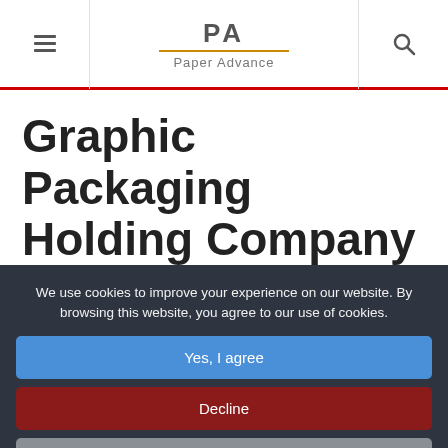PA Paper Advance
Graphic Packaging Holding Company Reports First Quarter 2019 Results
We use cookies to improve your experience on our website. By browsing this website, you agree to our use of cookies.
Yes, I agree
Decline
More Info